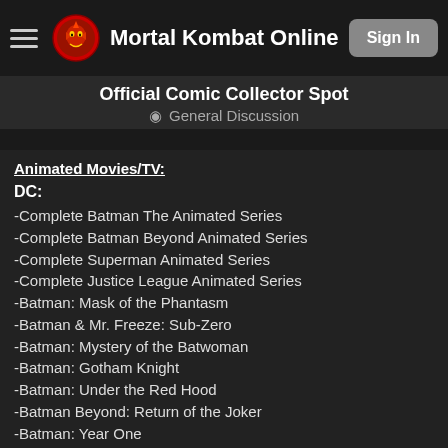RE: Official Comic Collector Spot - General Discussion
I'll have to ask nice when I get a mini-Conversation. But
Official Comic Collector Spot
General Discussion
Animated Movies/TV:
DC:
-Complete Batman The Animated Series
-Complete Batman Beyond Animated Series
-Complete Superman Animated Series
-Complete Justice League Animated Series
-Batman: Mask of the Phantasm
-Batman & Mr. Freeze: Sub-Zero
-Batman: Mystery of the Batwoman
-Batman: Gotham Knight
-Batman: Under the Red Hood
-Batman Beyond: Return of the Joker
-Batman: Year One
-Batman: The Dark Knight Returns Part 1
-Justice League: Doom